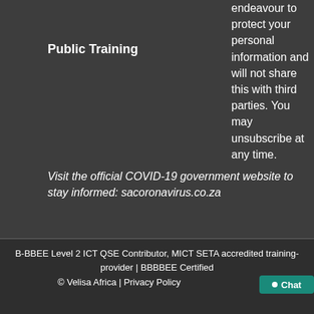Public Training
Visit the official COVID-19 government website to stay informed: sacoronavirus.co.za
endeavour to protect your personal information and will not share this with third parties. You may unsubscribe at any time.
B-BBEE Level 2 ICT QSE Contributor, MICT SETA accredited training-provider | BBBBEE Certified
© Velisa Africa | Privacy Policy